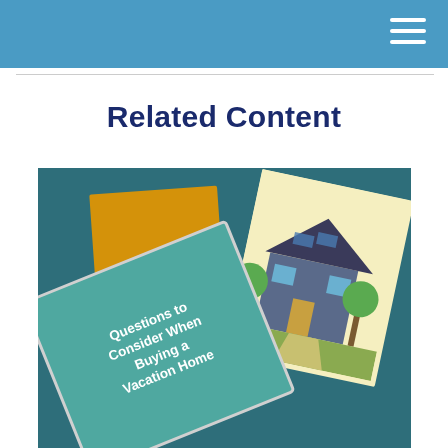Related Content
[Figure (photo): Photo showing stacked documents and booklets on a teal background. Visible items include an orange/amber colored book stack, an illustrated house brochure, and a teal card titled 'Questions to Consider When Buying a Vacation Home'.]